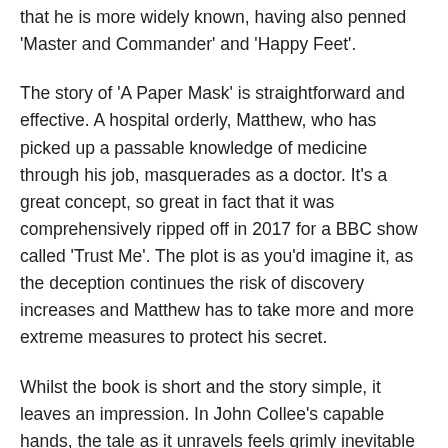that he is more widely known, having also penned 'Master and Commander' and 'Happy Feet'.
The story of 'A Paper Mask' is straightforward and effective. A hospital orderly, Matthew, who has picked up a passable knowledge of medicine through his job, masquerades as a doctor. It's a great concept, so great in fact that it was comprehensively ripped off in 2017 for a BBC show called 'Trust Me'. The plot is as you'd imagine it, as the deception continues the risk of discovery increases and Matthew has to take more and more extreme measures to protect his secret.
Whilst the book is short and the story simple, it leaves an impression. In John Collee's capable hands, the tale as it unravels feels grimly inevitable rather than predictable. It's written in the first person and Matthew's narration is compelling and